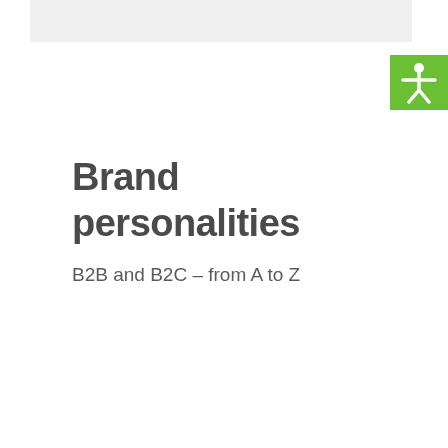[Figure (illustration): Accessibility icon: white human figure with arms outstretched on green background]
Brand personalities
B2B and B2C – from A to Z